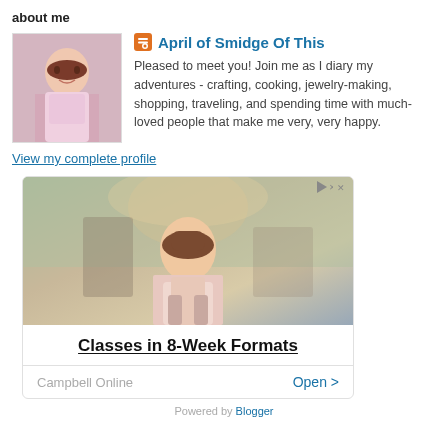about me
April of Smidge Of This
Pleased to meet you! Join me as I diary my adventures - crafting, cooking, jewelry-making, shopping, traveling, and spending time with much-loved people that make me very, very happy.
View my complete profile
[Figure (photo): Advertisement showing a young woman with long dark hair wearing a pink sweater, carrying books and a backpack, standing on a suburban street. Ad text: Classes in 8-Week Formats. Campbell Online. Open.]